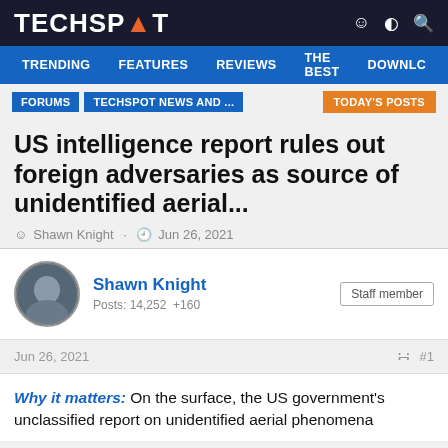TECHSPOT
TRENDING  FEATURES  REVIEWS  THE BEST  DOWNLC
FORUMS  TECHSPOT NEWS AND ...  TODAY'S POSTS
US intelligence report rules out foreign adversaries as source of unidentified aerial...
Shawn Knight · Jun 26, 2021
Shawn Knight  Posts: 14,252  +160  Staff member
Jun 26, 2021  #1
Why it matters: On the surface, the US government's unclassified report on unidentified aerial phenomena